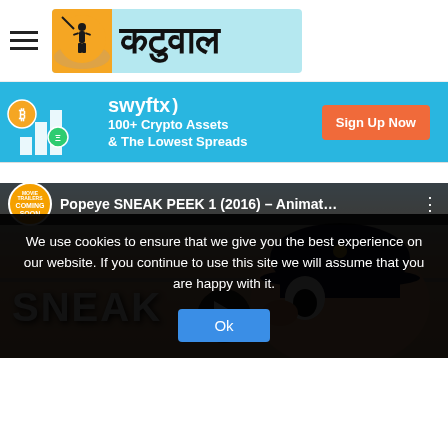[Figure (logo): Hamburger menu icon and Katuwal Hindi news website logo with orange circle and light blue background]
[Figure (infographic): Swyftx crypto advertisement banner: '100+ Crypto Assets & The Lowest Spreads' with Sign Up Now button on cyan background]
[Figure (screenshot): YouTube video thumbnail: 'Popeye SNEAK PEEK 1 (2016) - Animat...' with Coming Soon badge, SNEAK text, play button, and cartoon character face]
We use cookies to ensure that we give you the best experience on our website. If you continue to use this site we will assume that you are happy with it.
Ok